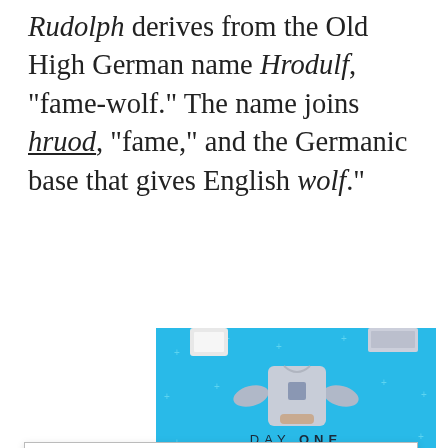Rudolph derives from the Old High German name Hrodulf, "fame-wolf." The name joins hruod, "fame," and the Germanic base that gives English wolf."
[Figure (illustration): Day One journaling app advertisement banner with light blue background, illustration of person holding a phone with a t-shirt graphic, text reading 'DAY ONE' and 'The only journaling app you'll ever need.' with decorative plus/cross dots scattered across the background.]
Privacy & Cookies: This site uses cookies. By continuing to use this website, you agree to their use.
To find out more, including how to control cookies, see here: Cookie Policy